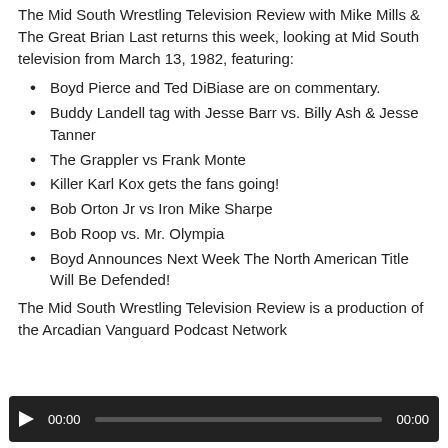The Mid South Wrestling Television Review with Mike Mills & The Great Brian Last returns this week, looking at Mid South television from March 13, 1982, featuring:
Boyd Pierce and Ted DiBiase are on commentary.
Buddy Landell tag with Jesse Barr vs. Billy Ash & Jesse Tanner
The Grappler vs Frank Monte
Killer Karl Kox gets the fans going!
Bob Orton Jr vs Iron Mike Sharpe
Bob Roop vs. Mr. Olympia
Boyd Announces Next Week The North American Title Will Be Defended!
The Mid South Wrestling Television Review is a production of the Arcadian Vanguard Podcast Network
[Figure (other): Audio player bar with play button, timecode 00:00, progress bar, and end timecode 00:00 on dark background.]